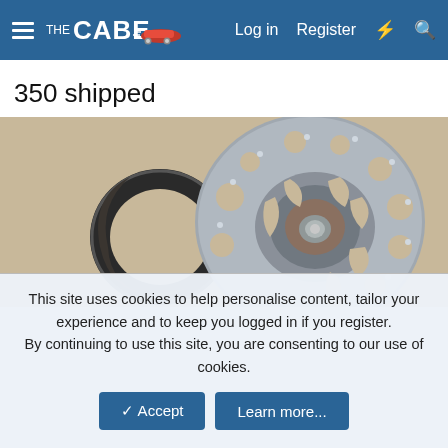THE CABE — Log in  Register
350 shipped
[Figure (photo): Photograph of disassembled bicycle hub parts including a flanged hub body with holes and a worn brake shoe/ring, placed on a beige surface.]
This site uses cookies to help personalise content, tailor your experience and to keep you logged in if you register. By continuing to use this site, you are consenting to our use of cookies.